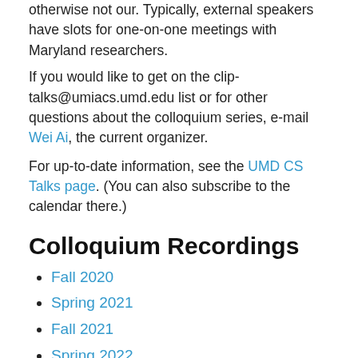otherwise not our. Typically, external speakers have slots for one-on-one meetings with Maryland researchers.
If you would like to get on the clip-talks@umiacs.umd.edu list or for other questions about the colloquium series, e-mail Wei Ai, the current organizer.
For up-to-date information, see the UMD CS Talks page. (You can also subscribe to the calendar there.)
Colloquium Recordings
Fall 2020
Spring 2021
Fall 2021
Spring 2022
Previous Talks
[Past talks, 2013 - present]
Spring 2012 Fall 2011 Spring 2011 Fall 2010
CLIP NEWS